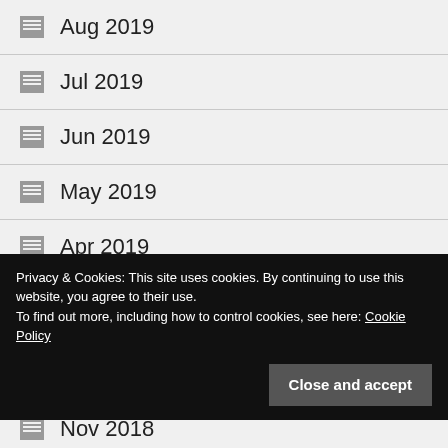Aug 2019
Jul 2019
Jun 2019
May 2019
Apr 2019
Mar 2019
Feb 2019
Privacy & Cookies: This site uses cookies. By continuing to use this website, you agree to their use.
To find out more, including how to control cookies, see here: Cookie Policy
Nov 2018